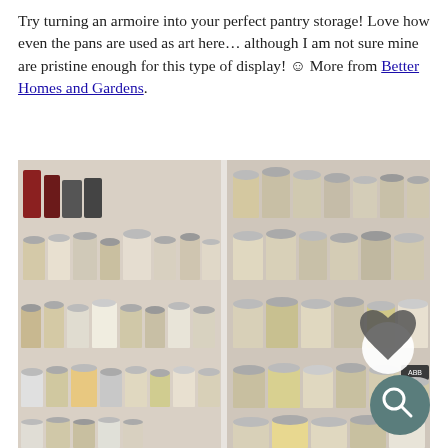Try turning an armoire into your perfect pantry storage! Love how even the pans are used as art here… although I am not sure mine are pristine enough for this type of display! ☺ More from Better Homes and Gardens.
[Figure (photo): Photo of organized pantry shelves filled with glass mason jars containing various dry goods such as grains, pasta, nuts, and flours, arranged neatly on white shelves. Two overlay buttons visible: a heart (favorite) button and a search/magnify button.]